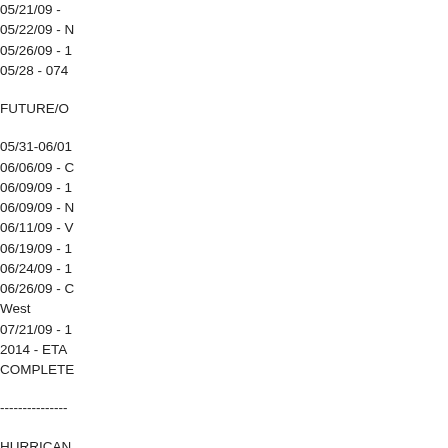05/21/09 -
05/22/09 - N
05/26/09 -
05/28 - 074
FUTURE/O
05/31-06/01
06/06/09 -
06/09/09 -
06/09/09 - N
06/11/09 - V
06/19/09 -
06/24/09 -
06/26/09 -
West
07/21/09 -
2014 - ETA
COMPLETE
----------------
HURRICAN
SEAPORT
YELLOW/E
=========
Tides for Ch
2009.
Day High Ti
Low Tim M